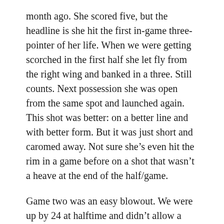month ago. She scored five, but the headline is she hit the first in-game three-pointer of her life. When we were getting scorched in the first half she let fly from the right wing and banked in a three. Still counts. Next possession she was open from the same spot and launched again. This shot was better: on a better line and with better form. But it was just short and caromed away. Not sure she’s even hit the rim in a game before on a shot that wasn’t a heave at the end of the half/game.
Game two was an easy blowout. We were up by 24 at halftime and didn’t allow a point in the second half. Not exactly a strong opponent. L had a more completed game this time, scoring four with two rebounds, two blocks, two assists, and a steal.
Without her, her teammates lost by 10 in their bracket game Sunday. Probably good she was unavailable because her knee pain was kicking.